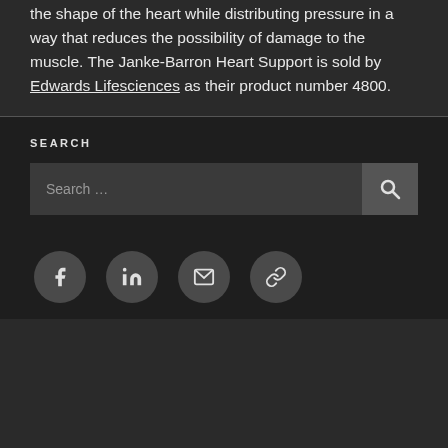the shape of the heart while distributing pressure in a way that reduces the possibility of damage to the muscle. The Janke-Barron Heart Support is sold by Edwards Lifesciences as their product number 4800.
SEARCH
[Figure (other): Search bar with text input field showing placeholder 'Search ...' and a search button with magnifying glass icon, followed by social media icon circles for Facebook, LinkedIn, Email, and a link/chain icon]